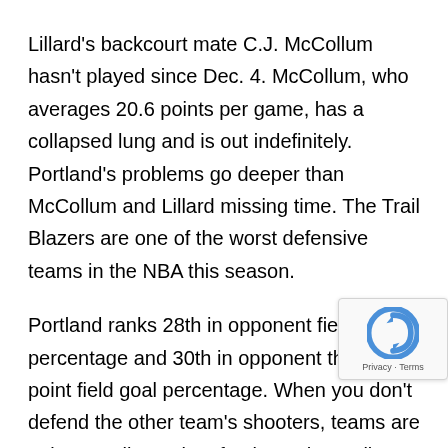Lillard's backcourt mate C.J. McCollum hasn't played since Dec. 4. McCollum, who averages 20.6 points per game, has a collapsed lung and is out indefinitely. Portland's problems go deeper than McCollum and Lillard missing time. The Trail Blazers are one of the worst defensive teams in the NBA this season.
Portland ranks 28th in opponent field goal percentage and 30th in opponent three-point field goal percentage. When you don't defend the other team's shooters, teams are going to roll up a lot of points. The Trail Blazers are No. 25 in points allowed per game this season at 111.2.
Phoenix is one of the better offensive teams in the NBA ranking No. 2 in field goal shooting and eighth in averaging 110.8 points per game. Their problem course, is that they will be missing their leading scorer in